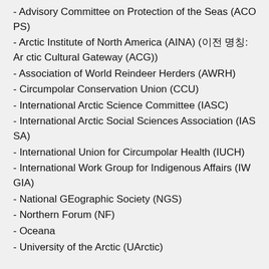- Advisory Committee on Protection of the Seas (ACOPS)
- Arctic Institute of North America (AINA) (이전 명칭: Arctic Cultural Gateway (ACG))
- Association of World Reindeer Herders (AWRH)
- Circumpolar Conservation Union (CCU)
- International Arctic Science Committee (IASC)
- International Arctic Social Sciences Association (IASSA)
- International Union for Circumpolar Health (IUCH)
- International Work Group for Indigenous Affairs (IWGIA)
- National GEographic Society (NGS)
- Northern Forum (NF)
- Oceana
- University of the Arctic (UArctic)